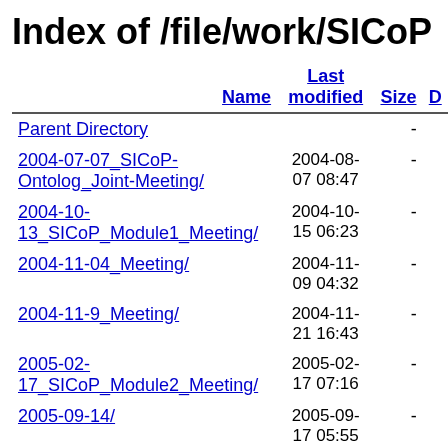Index of /file/work/SICoP
| Name | Last modified | Size | D |
| --- | --- | --- | --- |
| Parent Directory |  | - |  |
| 2004-07-07_SICoP-Ontolog_Joint-Meeting/ | 2004-08-07 08:47 | - |  |
| 2004-10-13_SICoP_Module1_Meeting/ | 2004-10-15 06:23 | - |  |
| 2004-11-04_Meeting/ | 2004-11-09 04:32 | - |  |
| 2004-11-9_Meeting/ | 2004-11-21 16:43 | - |  |
| 2005-02-17_SICoP_Module2_Meeting/ | 2005-02-17 07:16 | - |  |
| 2005-09-14/ | 2005-09-17 05:55 | - |  |
| 2005-09-21/ | 2005-10-17 19:03 | - |  |
| 2005-10-05ONTAGWGMeeting/ | 2005-10- | - |  |